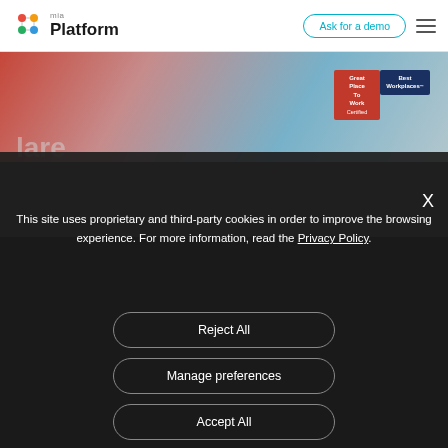mia Platform — Ask for a demo
[Figure (photo): Background hero image of an office/workplace scene with colorful abstract shapes in red and blue. Badges visible: 'Great Place To Work Certified' and 'Best Workplaces'.]
This site uses proprietary and third-party cookies in order to improve the browsing experience. For more information, read the Privacy Policy.
Reject All
Manage preferences
Accept All